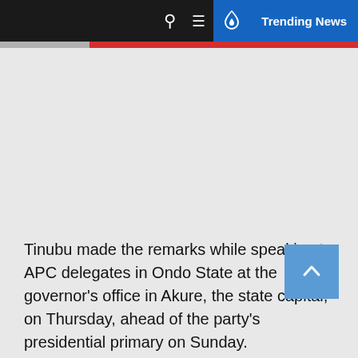Trending News
Tinubu made the remarks while speaking to APC delegates in Ondo State at the governor's office in Akure, the state capital, on Thursday, ahead of the party's presidential primary on Sunday.